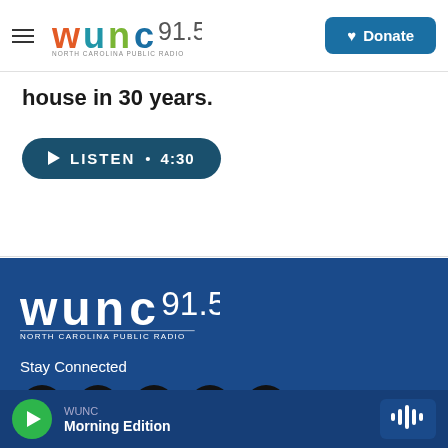[Figure (logo): WUNC 91.5 North Carolina Public Radio logo with colorful lettering (orange, green, blue) and Donate button in blue]
House in 30 years.
[Figure (other): Listen audio button showing play icon and duration 4:30]
[Figure (logo): WUNC 91.5 North Carolina Public Radio logo in white on dark blue background]
Stay Connected
[Figure (other): Social media icons: Twitter, Instagram, YouTube, Facebook, LinkedIn — white icons on black circles]
Bringing The World Home To You
WUNC Morning Edition